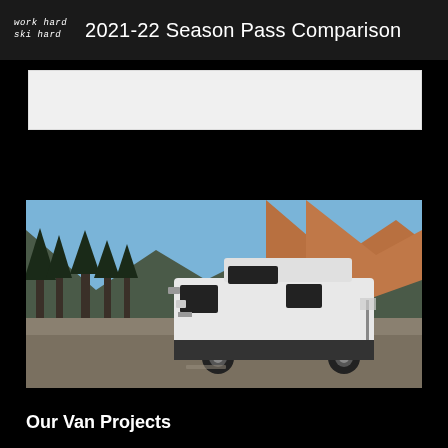work hard ski hard   2021-22 Season Pass Comparison
[Figure (photo): White high-roof cargo van (RAM ProMaster) parked on a gravel road with tall pine trees and rocky mountain peaks in the background under a blue sky.]
Our Van Projects